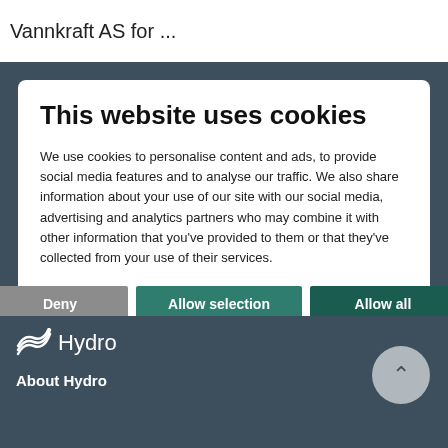Vannkraft AS for ...
This website uses cookies
We use cookies to personalise content and ads, to provide social media features and to analyse our traffic. We also share information about your use of our site with our social media, advertising and analytics partners who may combine it with other information that you've provided to them or that they've collected from your use of their services.
Deny | Allow selection | Allow all
Necessary  Preferences  Statistics  Marketing  Show details
Hydro
About Hydro